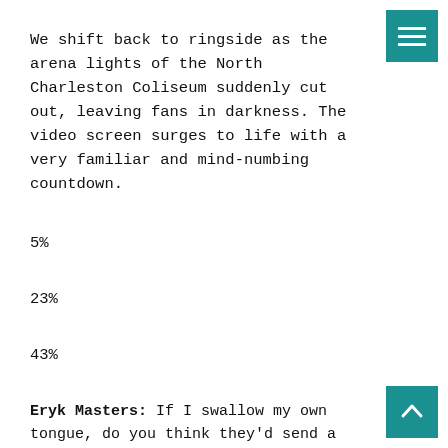We shift back to ringside as the arena lights of the North Charleston Coliseum suddenly cut out, leaving fans in darkness. The video screen surges to life with a very familiar and mind-numbing countdown.
5%
23%
43%
Eryk Masters: If I swallow my own tongue, do you think they'd send a replacement out here to do my job?